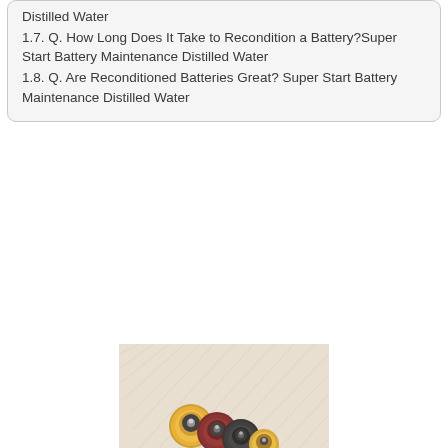Distilled Water
1.7. Q. How Long Does It Take to Recondition a Battery?Super Start Battery Maintenance Distilled Water
1.8. Q. Are Reconditioned Batteries Great? Super Start Battery Maintenance Distilled Water
[Figure (photo): Close-up photo of several AA batteries standing upright, showing yellow, red, and black battery tops with positive terminals visible, on a light background with faint text markings.]